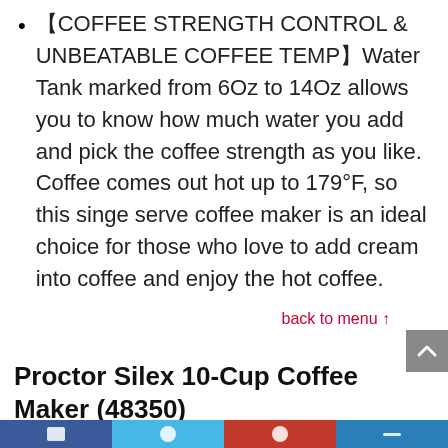【COFFEE STRENGTH CONTROL & UNBEATABLE COFFEE TEMP】Water Tank marked from 6Oz to 14Oz allows you to know how much water you add and pick the coffee strength as you like. Coffee comes out hot up to 179°F, so this singe serve coffee maker is an ideal choice for those who love to add cream into coffee and enjoy the hot coffee.
back to menu ↑
Proctor Silex 10-Cup Coffee Maker (48350)